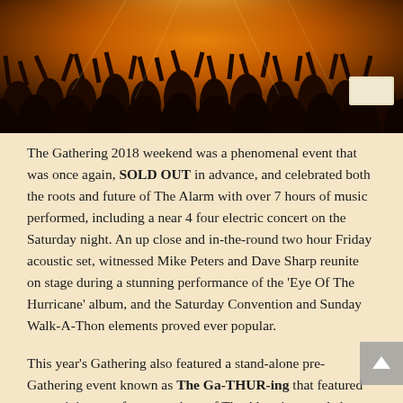[Figure (photo): Concert crowd photo showing a large audience with hands raised, lit by warm orange/amber stage lighting, taken from stage level looking out over the crowd.]
The Gathering 2018 weekend was a phenomenal event that was once again, SOLD OUT in advance, and celebrated both the roots and future of The Alarm with over 7 hours of music performed, including a near 4 four electric concert on the Saturday night. An up close and in-the-round two hour Friday acoustic set, witnessed Mike Peters and Dave Sharp reunite on stage during a stunning performance of the 'Eye Of The Hurricane' album, and the Saturday Convention and Sunday Walk-A-Thon elements proved ever popular.
This year's Gathering also featured a stand-alone pre-Gathering event known as The Ga-THUR-ing that featured entertaining sets from members of The Alarm's extended family, including a highly charged performance by charismatic drummer Smiley along with guitarist and multi instrumentalist